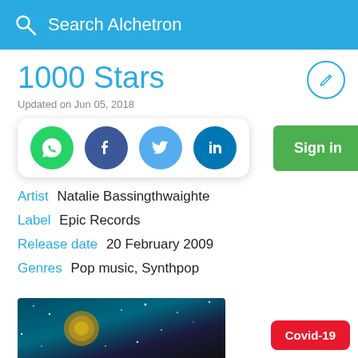Search Alchetron
1000 Stars
Updated on Jun 05, 2018
[Figure (infographic): Social share buttons: WhatsApp, Facebook, Twitter, LinkedIn]
Sign in
Artist  Natalie Bassingthwaighte
Label  Epic Records
Release date  20 February 2009
Genres  Pop music, Synthpop
[Figure (photo): Bottom portion of album art with starry/galaxy background]
Covid-19